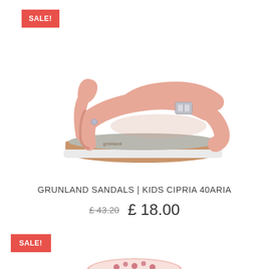[Figure (other): Red SALE badge in top left corner]
[Figure (photo): Pink/rose gold Grunland kids sandal with cork sole, silver buckle, and velcro strap on white background]
GRUNLAND SANDALS | KIDS CIPRIA 40ARIA
£ 43.20  £ 18.00
[Figure (other): Red SALE! badge]
[Figure (photo): Partial view of a second product sandal at bottom of page]